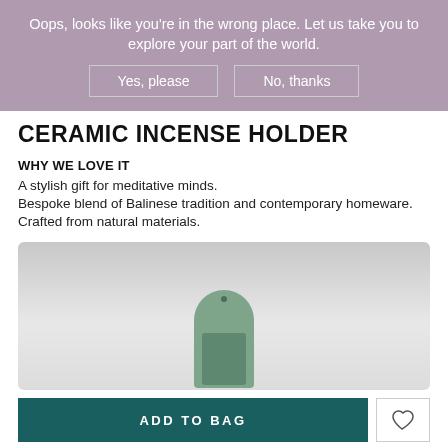Oops, looks like you're in the wrong place. Let us take you to explore your part of the world.
Yes, please
No, thanks
CERAMIC INCENSE HOLDER
WHY WE LOVE IT
A stylish gift for meditative minds.
Bespoke blend of Balinese tradition and contemporary homeware.
Crafted from natural materials.
[Figure (photo): Ceramic incense holder in sage green color, arch/tombstone shape with a small hole at the top, displayed against a grey gradient background.]
ADD TO BAG